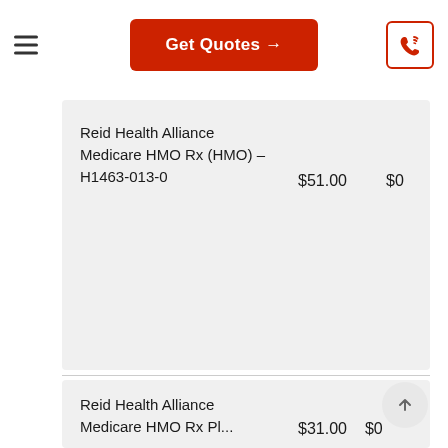[Figure (screenshot): Top navigation bar with hamburger menu icon on left, red 'Get Quotes →' button in center, and red phone icon button on right]
| Plan Name | Monthly Premium | Drug Deductible |
| --- | --- | --- |
| Reid Health Alliance Medicare HMO Rx (HMO) – H1463-013-0 | $51.00 | $0 |
| Plan Name | Monthly Premium | Drug Deductible |
| --- | --- | --- |
| Reid Health Alliance Medicare HMO Rx Pl... | $31.00 | $0 |